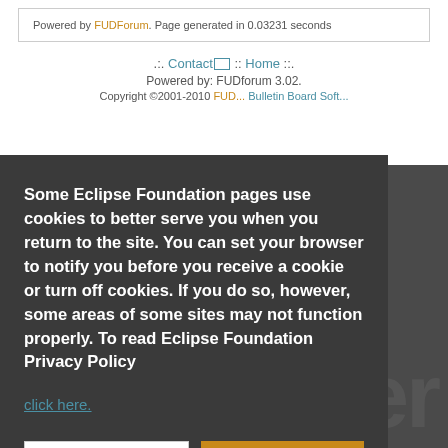Powered by FUDForum. Page generated in 0.03231 seconds
.:. Contact :: Home ::.
Powered by: FUDforum 3.02.
Copyright ©2001-2010 FUDforum Bulletin Board Software
Some Eclipse Foundation pages use cookies to better serve you when you return to the site. You can set your browser to notify you before you receive a cookie or turn off cookies. If you do so, however, some areas of some sites may not function properly. To read Eclipse Foundation Privacy Policy click here.
Decline
Allow cookies